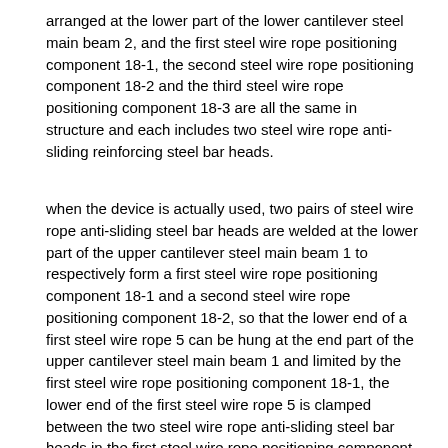arranged at the lower part of the lower cantilever steel main beam 2, and the first steel wire rope positioning component 18-1, the second steel wire rope positioning component 18-2 and the third steel wire rope positioning component 18-3 are all the same in structure and each includes two steel wire rope anti-sliding reinforcing steel bar heads.
when the device is actually used, two pairs of steel wire rope anti-sliding steel bar heads are welded at the lower part of the upper cantilever steel main beam 1 to respectively form a first steel wire rope positioning component 18-1 and a second steel wire rope positioning component 18-2, so that the lower end of a first steel wire rope 5 can be hung at the end part of the upper cantilever steel main beam 1 and limited by the first steel wire rope positioning component 18-1, the lower end of the first steel wire rope 5 is clamped between the two steel wire rope anti-sliding steel bar heads in the first steel wire rope positioning component 18-1, the lower end of a second steel wire rope 6 is hung at the middle part of the upper cantilever steel main beam 1 and limited by the second steel wire rope positioning component 18-2, the lower end